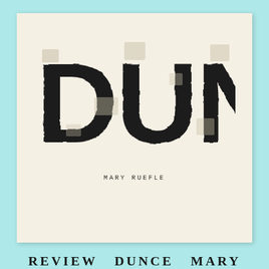[Figure (illustration): Book cover of 'DUNCE' by Mary Ruefle. Cream/off-white background with large distressed block-letter title 'DUNCE' in black ink, with a worn/printed texture effect. Author name 'MARY RUEFLE' in small spaced monospace type below the title.]
DUNCE
MARY RUEFLE
REVIEW DUNCE MARY